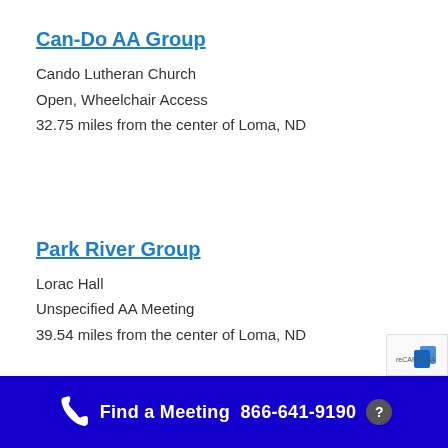Can-Do AA Group
Cando Lutheran Church
Open, Wheelchair Access
32.75 miles from the center of Loma, ND
Park River Group
Lorac Hall
Unspecified AA Meeting
39.54 miles from the center of Loma, ND
Find a Meeting  866-641-9190